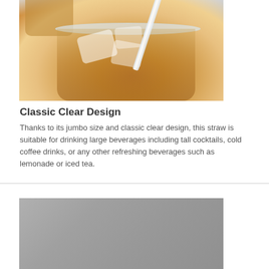[Figure (photo): Close-up photo of a clear plastic cup filled with iced tea or a similar amber beverage, with ice cubes and a clear straw, set on a table. A second cup is visible in the background.]
Classic Clear Design
Thanks to its jumbo size and classic clear design, this straw is suitable for drinking large beverages including tall cocktails, cold coffee drinks, or any other refreshing beverages such as lemonade or iced tea.
[Figure (photo): Partially visible photo with a grey/silver background, content is cut off at the bottom of the page.]